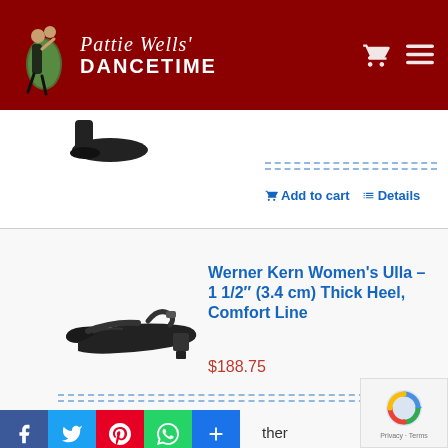[Figure (logo): Pattie Wells' Dancetime logo with dancing couple silhouette on dark red header background]
[Figure (photo): Partial view of a black dance shoe (top portion cut off)]
Add to cart   Details
[Figure (photo): Werner Kern Women's Ulla black dance shoe with ankle strap and thick heel]
Werner Kern Women's Ulla – 1 1/2″ (3.4 cm) Thick Heel, Comfort Line
$188.75
[Figure (other): Social media share icons: Facebook, Twitter, Pinterest, WhatsApp, Share Plus]